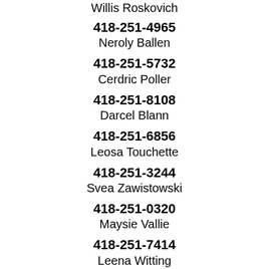Willis Roskovich
418-251-4965
Neroly Ballen
418-251-5732
Cerdric Poller
418-251-8108
Darcel Blann
418-251-6856
Leosa Touchette
418-251-3244
Svea Zawistowski
418-251-0320
Maysie Vallie
418-251-7414
Leena Witting
418-251-1198
Freedom Dismuke
418-251-7858